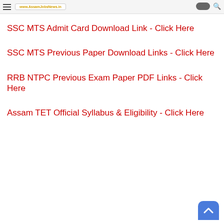www.AssamJobsNews.in
SSC MTS Admit Card Download Link - Click Here
SSC MTS Previous Paper Download Links - Click Here
RRB NTPC Previous Exam Paper PDF Links - Click Here
Assam TET Official Syllabus & Eligibility - Click Here